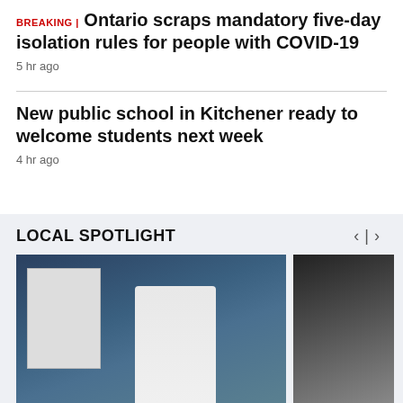BREAKING | Ontario scraps mandatory five-day isolation rules for people with COVID-19
5 hr ago
New public school in Kitchener ready to welcome students next week
4 hr ago
LOCAL SPOTLIGHT
[Figure (photo): Woman in white lab coat standing behind a table with science fair display boards and lab equipment]
[Figure (photo): People at an event, some with hands raised, in a dark venue]